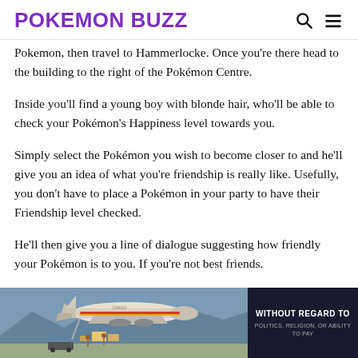POKEMON BUZZ
Pokemon, then travel to Hammerlocke. Once you're there head to the building to the right of the Pokémon Centre.
Inside you'll find a young boy with blonde hair, who'll be able to check your Pokémon's Happiness level towards you.
Simply select the Pokémon you wish to become closer to and he'll give you an idea of what you're friendship is really like. Usefully, you don't have to place a Pokémon in your party to have their Friendship level checked.
He'll then give you a line of dialogue suggesting how friendly your Pokémon is to you. If you're not best friends.
[Figure (photo): Advertisement banner showing cargo aircraft being loaded with packages, with a dark panel overlay reading WITHOUT REGARD TO with smaller text below.]